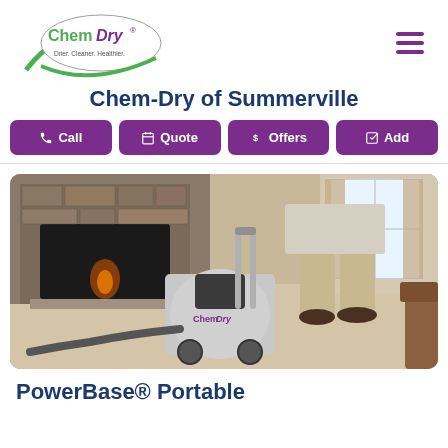[Figure (logo): Chem-Dry logo with green swoosh and oval, with tagline 'Drier. Cleaner. Healthier.']
Chem-Dry of Summerville
[Figure (other): Four purple action buttons: Call, Quote, Offers, Add]
[Figure (photo): A Chem-Dry technician using a PowerBase portable carpet cleaning machine in a living room with a stone fireplace]
PowerBase® Portable